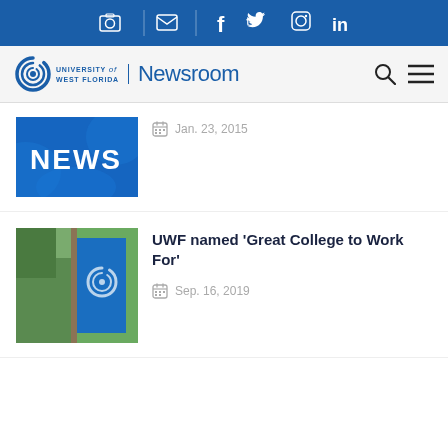University of West Florida Newsroom - social icons bar
University of West Florida | Newsroom
[Figure (photo): Blue NEWS banner image (partially visible)]
Jan. 23, 2015
UWF named ‘Great College to Work For’
[Figure (photo): UWF campus banner photo showing spiral logo on flag]
Sep. 16, 2019